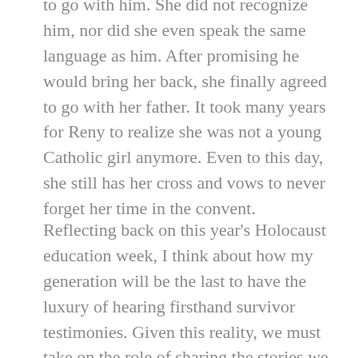to go with him. She did not recognize him, nor did she even speak the same language as him. After promising he would bring her back, she finally agreed to go with her father. It took many years for Reny to realize she was not a young Catholic girl anymore. Even to this day, she still has her cross and vows to never forget her time in the convent.
Reflecting back on this year's Holocaust education week, I think about how my generation will be the last to have the luxury of hearing firsthand survivor testimonies. Given this reality, we must take on the role of sharing the stories we hear with generations to come and